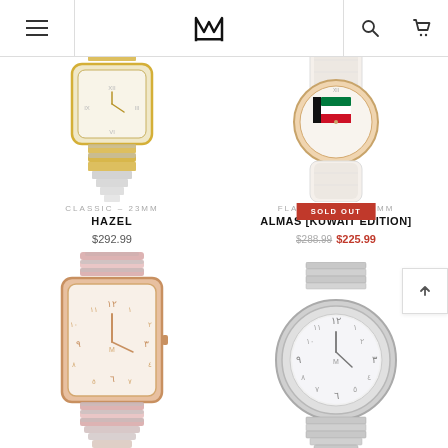M (logo) - navigation header with hamburger menu, search, and cart icons
[Figure (photo): Partial top view of a classic 23mm watch with gold/silver two-tone bracelet and mother-of-pearl octagonal dial (Hazel)]
CLASSIC – 23MM
HAZEL
$292.99
[Figure (photo): Partial top view of a Flag Watch 35MM with rose gold case, diamond bezel, Kuwait flag dial, and white crocodile leather strap (Almas Kuwait Edition) with SOLD OUT badge]
FLAG WATCH – 35MM
ALMAS [KUWAIT EDITION]
$288.99 $225.99
[Figure (photo): Rose gold and silver two-tone rectangular watch with Arabic numeral mother-of-pearl dial on matching bracelet]
[Figure (photo): Silver stainless steel round watch with Arabic numeral mother-of-pearl dial on integrated bracelet]